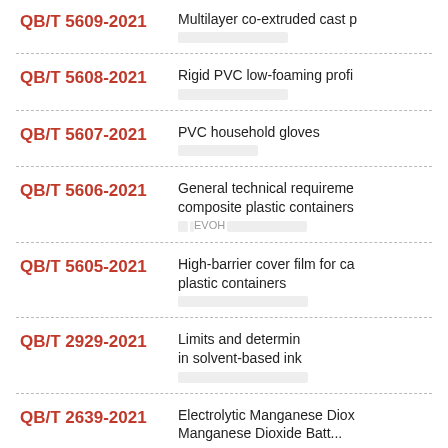QB/T 5609-2021 — Multilayer co-extruded cast p...
QB/T 5608-2021 — Rigid PVC low-foaming profi...
QB/T 5607-2021 — PVC household gloves
QB/T 5606-2021 — General technical requireme... composite plastic containers; EVOH...
QB/T 5605-2021 — High-barrier cover film for ca... plastic containers
QB/T 2929-2021 — Limits and determin... in solvent-based ink...
QB/T 2639-2021 — Electrolytic Manganese Diox... Manganese Dioxide Batt...